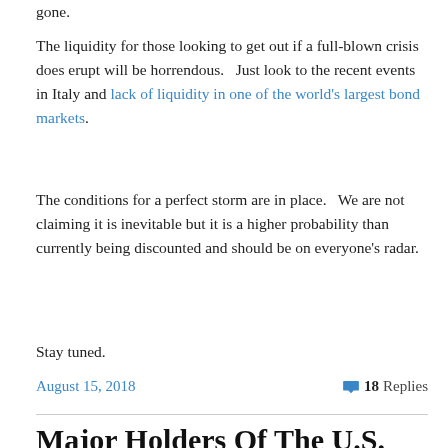gone.
The liquidity for those looking to get out if a full-blown crisis does erupt will be horrendous.   Just look to the recent events in Italy and lack of liquidity in one of the world's largest bond markets.
The conditions for a perfect storm are in place.   We are not claiming it is inevitable but it is a higher probability than currently being discounted and should be on everyone's radar.
Stay tuned.
August 15, 2018
18 Replies
Major Holders Of The U.S.